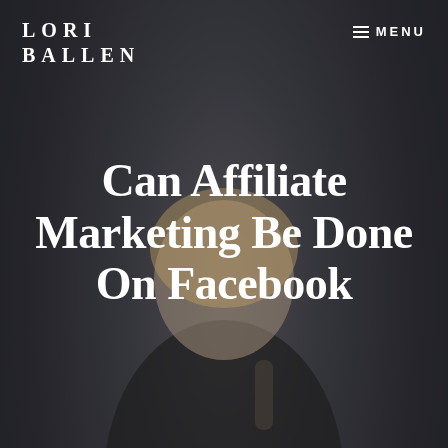LORI BALLEN | MENU
Can Affiliate Marketing Be Done On Facebook
AFFILIATE PROGRAMS, AFFILIATE MARKETING / DECEMBER 14, 2021 by LORI BALLEN
[Figure (photo): Woman with blonde hair sitting at a desk talking on phone with a laptop open, dark moody background]
Table of Contents
Facebook Business Page
Facebook Ads for Affiliate…